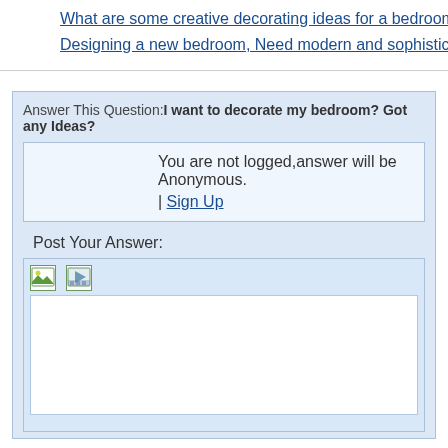What are some creative decorating ideas for a bedroom?
Designing a new bedroom, Need modern and sophisticated ideas p
Answer This Question: I want to decorate my bedroom? Got any Ideas?
You are not logged,answer will be Anonymous.
| Sign Up
Post Your Answer:
[Figure (screenshot): Answer editor toolbar with image and video insert icons, followed by a blank white text area]